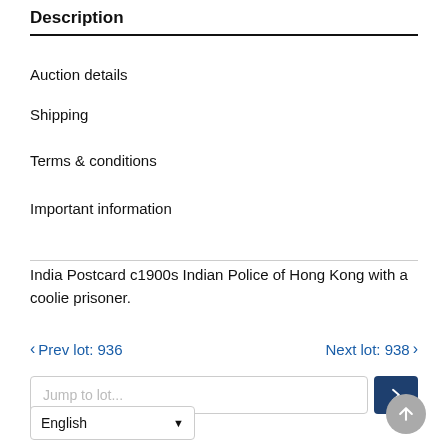Description
Auction details
Shipping
Terms & conditions
Important information
India Postcard c1900s Indian Police of Hong Kong with a coolie prisoner.
‹ Prev lot: 936    Next lot: 938 ›
Jump to lot...
English